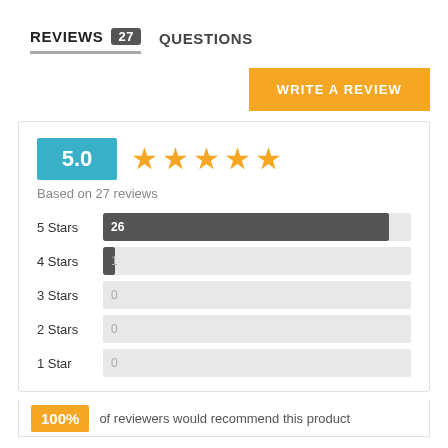REVIEWS 27   QUESTIONS
WRITE A REVIEW
[Figure (infographic): Rating summary box showing 5.0 score badge, 5 orange stars, 'Based on 27 reviews', and star distribution bars: 5 Stars 26, 4 Stars 1, 3 Stars 0, 2 Stars 0, 1 Star 0]
100%